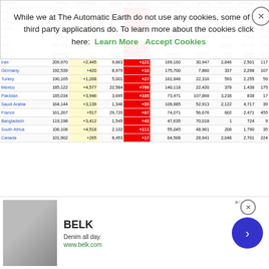While we at The Automatic Earth do not use any cookies, some of our third party applications do. To learn more about the cookies click here: Learn More   Accept Cookies
| Country | Cases | New Cases | Deaths | New Deaths | Recovered | Active | Critical | Cases/M | D/M |
| --- | --- | --- | --- | --- | --- | --- | --- | --- | --- |
| India | 456,062 | +15,612 | 14,483 | +488 | 256,523 | 183,056 | 8,944 | 331 | 10 |
| UK | 308,210 | +821 | 42,927 | +280 | N/A | N/A | 330 | 4,511 | 632 |
| Spain | 293,832 | +248 | 28,325 | +1 | N/A | N/A | 517 | 6,285 | 606 |
| Peru | 257,447 |  | 8,223 |  | 145,320 | 103,904 | 1,144 | 7,811 | 249 |
| Chile | 250,767 | +3,804 | 4,505 | +3 | 210,570 | 35,692 | 2,009 | 13,121 | 238 |
| Italy | 238,833 | +113 | 34,675 | +18 | 184,585 | 19,573 | 115 | 3,950 | 573 |
| Iran | 209,970 | +2,445 | 9,863 | +121 | 169,160 | 30,947 | 2,846 | 2,501 | 117 |
| Germany | 192,539 | +420 | 8,979 | +10 | 175,700 | 7,860 | 337 | 2,298 | 107 |
| Turkey | 190,165 | +1,268 | 5,001 | +27 | 162,848 | 22,316 | 593 | 2,255 | 59 |
| Mexico | 185,122 | +4,577 | 22,584 | +799 | 140,118 | 22,420 | 378 | 1,438 | 175 |
| Pakistan | 185,034 | +3,946 | 3,695 | +105 | 73,471 | 107,868 | 3,238 | 838 | 17 |
| Saudi Arabia | 164,144 | +3,139 | 1,346 | +39 | 109,885 | 52,913 | 2,122 | 4,717 | 39 |
| France | 161,267 | +517 | 29,720 | +67 | 74,071 | 56,676 | 602 | 2,471 | 455 |
| Bangladesh | 119,198 | +3,412 | 1,545 | +43 | 47,635 | 70,018 | 1 | 724 | 9 |
| South Africa | 106,108 | +4,518 | 2,102 | +111 | 55,045 | 48,961 | 208 | 1,790 | 35 |
| Canada | 101,902 | +265 | 8,453 | +17 | 64,508 | 28,941 | 2,048 | 2,701 | 224 |
[Figure (screenshot): BELK advertisement banner: Denim all day. www.belk.com with navigation arrow button]